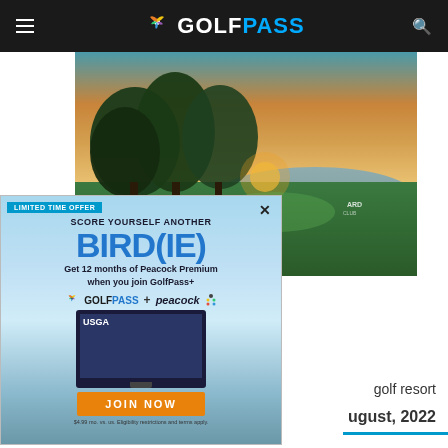GOLFPASS
[Figure (photo): Golf course at sunset with large oak trees, green fairway, and water in the background]
[Figure (screenshot): Advertisement overlay: LIMITED TIME OFFER - SCORE YOURSELF ANOTHER BIRD(IE) - Get 12 months of Peacock Premium when you join GolfPass+ - GOLFPASS + peacock logos - USGA screen image - JOIN NOW button - $4.99/mo. vs. us. Eligibility restrictions and terms apply.]
golf resort
ugust, 2022